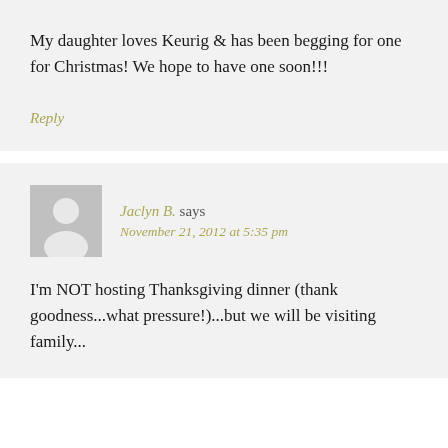My daughter loves Keurig & has been begging for one for Christmas! We hope to have one soon!!!
Reply
Jaclyn B. says
November 21, 2012 at 5:35 pm
I'm NOT hosting Thanksgiving dinner (thank goodness...what pressure!)...but we will be visiting family...